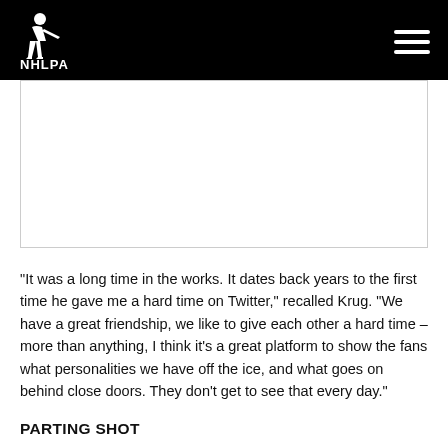NHLPA
[Figure (photo): Image placeholder area below the NHLPA header bar]
“It was a long time in the works. It dates back years to the first time he gave me a hard time on Twitter,” recalled Krug. “We have a great friendship, we like to give each other a hard time – more than anything, I think it’s a great platform to show the fans what personalities we have off the ice, and what goes on behind close doors. They don’t get to see that every day.”
PARTING SHOT